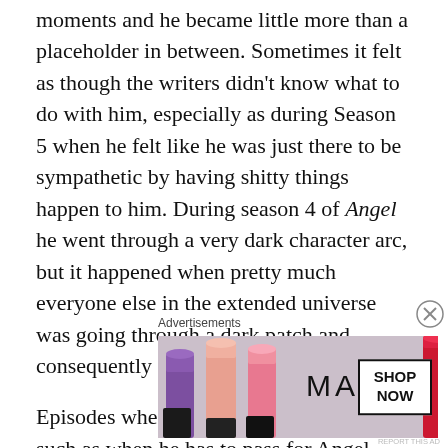moments and he became little more than a placeholder in between. Sometimes it felt as though the writers didn't know what to do with him, especially as during Season 5 when he felt like he was just there to be sympathetic by having shitty things happen to him. During season 4 of Angel he went through a very dark character arc, but it happened when pretty much everyone else in the extended universe was going through a dark patch and consequently never had the same impact.
Episodes when Wesley gets the spotlight, such as when he has to pass for Angel, stand out as some of the best of the series, but they're to few and far between for this list. Remember that this is just one viewpoint, and the
Advertisements
[Figure (photo): MAC cosmetics advertisement showing colorful lipsticks on the left and the MAC logo with a SHOP NOW button on the right]